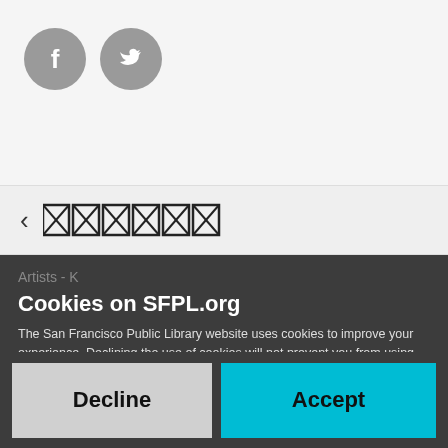[Figure (logo): Facebook and Twitter social media icons as gray circles]
[Figure (other): Navigation back arrow followed by redacted/blocked-out text]
Artists - K
Cookies on SFPL.org
The San Francisco Public Library website uses cookies to improve your experience. Declining the use of cookies will not prevent you from using the website but some of your preferences may not be retained.
Decline
Accept